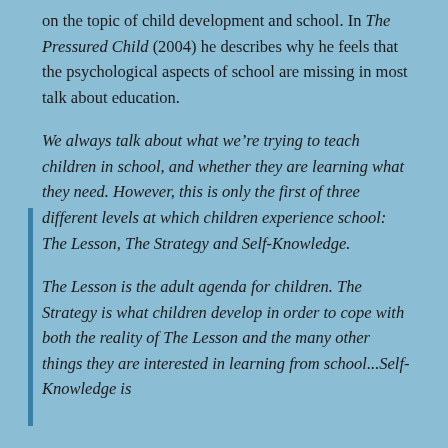on the topic of child development and school. In The Pressured Child (2004) he describes why he feels that the psychological aspects of school are missing in most talk about education.
We always talk about what we're trying to teach children in school, and whether they are learning what they need. However, this is only the first of three different levels at which children experience school: The Lesson, The Strategy and Self-Knowledge.
The Lesson is the adult agenda for children. The Strategy is what children develop in order to cope with both the reality of The Lesson and the many other things they are interested in learning from school...Self-Knowledge is